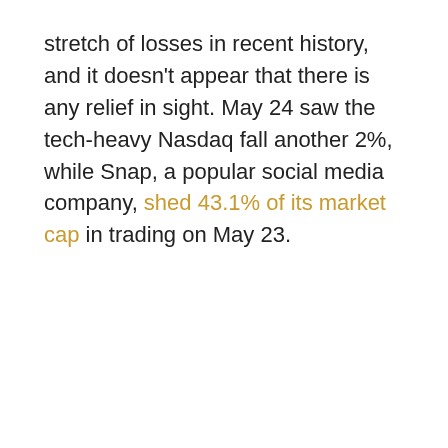stretch of losses in recent history, and it doesn't appear that there is any relief in sight. May 24 saw the tech-heavy Nasdaq fall another 2%, while Snap, a popular social media company, shed 43.1% of its market cap in trading on May 23.